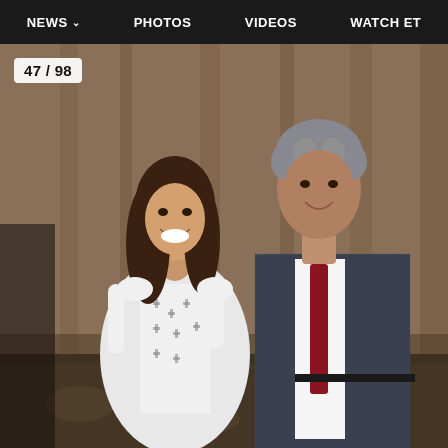NEWS   PHOTOS   VIDEOS   WATCH ET
[Figure (photo): Two people posing together at an event. A woman on the left wearing a white dress with small black cross/fleur-de-lis pattern, smiling broadly with long brown hair. A taller man on the right wearing a dark charcoal plaid suit with a white shirt and dark red/burgundy tie, with greying curly hair, smiling. They are standing in what appears to be a hotel ballroom with warm brown curtain background and patterned carpet.]
47 / 98